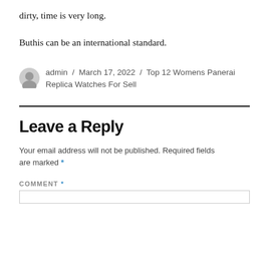dirty, time is very long.
Buthis can be an international standard.
admin / March 17, 2022 / Top 12 Womens Panerai Replica Watches For Sell
Leave a Reply
Your email address will not be published. Required fields are marked *
COMMENT *